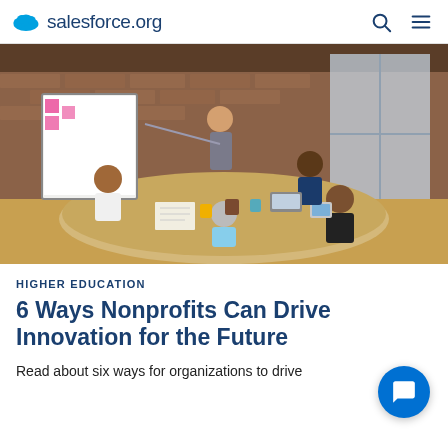salesforce.org
[Figure (photo): A group of diverse people seated around a large conference table in a brick-walled workspace, with a woman standing at a whiteboard presenting. Laptops and tablets are visible on the table.]
HIGHER EDUCATION
6 Ways Nonprofits Can Drive Innovation for the Future
Read about six ways for organizations to drive innovation for the future